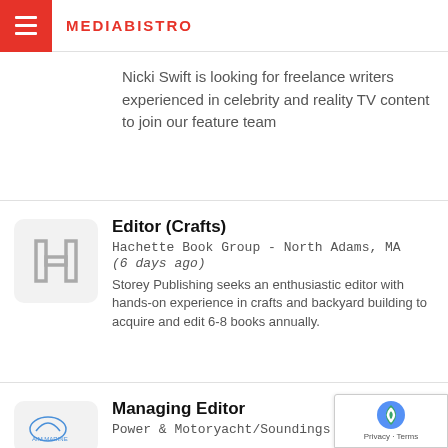MEDIABISTRO
Nicki Swift is looking for freelance writers experienced in celebrity and reality TV content to join our feature team
Editor (Crafts)
Hachette Book Group - North Adams, MA
(6 days ago)
Storey Publishing seeks an enthusiastic editor with hands-on experience in crafts and backyard building to acquire and edit 6-8 books annually.
Managing Editor
Power & Motoryacht/Soundings